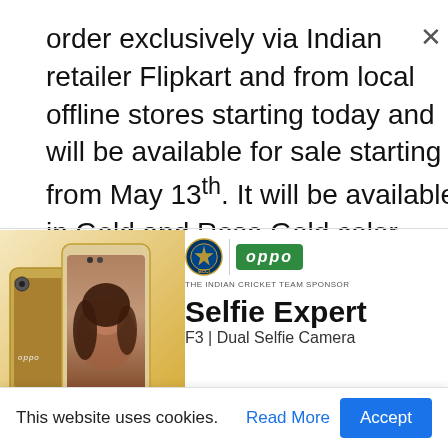order exclusively via Indian retailer Flipkart and from local offline stores starting today and will be available for sale starting from May 13th. It will be available in Gold and Rose Gold color options.
[Figure (photo): OPPO F3 advertisement banner showing two gold smartphones and a woman's face on the screen, with BCCI and OPPO logos (THE INDIAN CRICKET TEAM SPONSOR), and text 'Selfie Expert F3 | Dual Selfie Camera']
This website uses cookies. Read More Accept